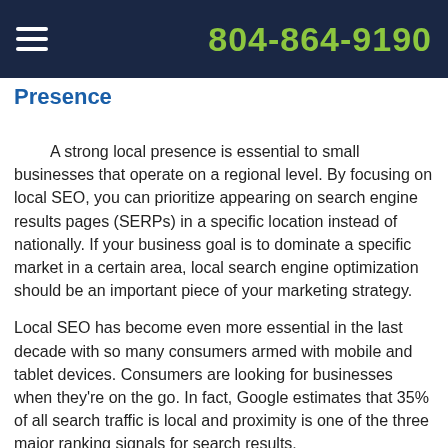804-864-9190
Presence
A strong local presence is essential to small businesses that operate on a regional level. By focusing on local SEO, you can prioritize appearing on search engine results pages (SERPs) in a specific location instead of nationally. If your business goal is to dominate a specific market in a certain area, local search engine optimization should be an important piece of your marketing strategy.
Local SEO has become even more essential in the last decade with so many consumers armed with mobile and tablet devices. Consumers are looking for businesses when they're on the go. In fact, Google estimates that 35% of all search traffic is local and proximity is one of the three major ranking signals for search results.